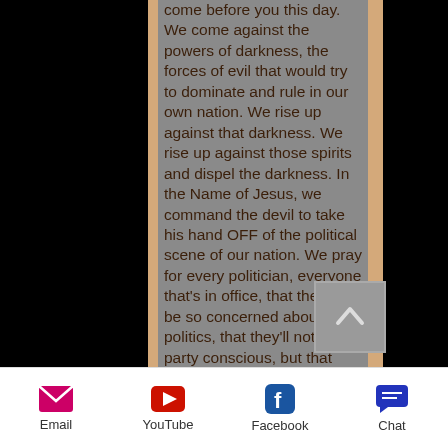come before you this day. We come against the powers of darkness, the forces of evil that would try to dominate and rule in our own nation. We rise up against that darkness. We rise up against those spirits and dispel the darkness. In the Name of Jesus, we command the devil to take his hand OFF of the political scene of our nation. We pray for every politician, everyone that's in office, that they'll not be so concerned about politics, that they'll not be so party conscious, but that they'll be concerned about our nation as a whole—and
Email  YouTube  Facebook  Chat